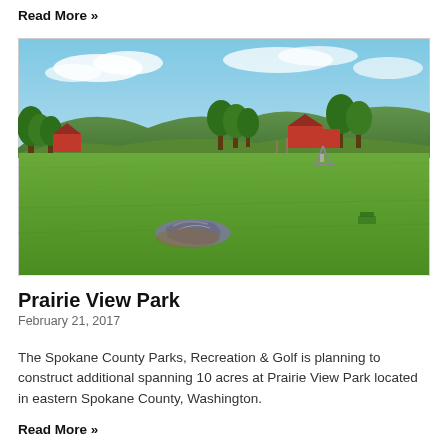Read More »
[Figure (photo): Outdoor photograph of a large open green grass field under a partly cloudy blue sky. In the background are forested hills, several trees, and a few red farm buildings. In the foreground left is a tarpaulin or fabric item on the ground. A swing set structure is visible mid-field. A small object is visible far right mid-ground.]
Prairie View Park
February 21, 2017
The Spokane County Parks, Recreation & Golf is planning to construct additional spanning 10 acres at Prairie View Park located in eastern Spokane County, Washington.
Read More »